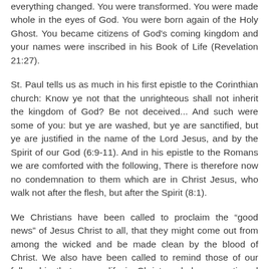everything changed. You were transformed. You were made whole in the eyes of God. You were born again of the Holy Ghost. You became citizens of God's coming kingdom and your names were inscribed in his Book of Life (Revelation 21:27).
St. Paul tells us as much in his first epistle to the Corinthian church: Know ye not that the unrighteous shall not inherit the kingdom of God? Be not deceived... And such were some of you: but ye are washed, but ye are sanctified, but ye are justified in the name of the Lord Jesus, and by the Spirit of our God (6:9-11). And in his epistle to the Romans we are comforted with the following, There is therefore now no condemnation to them which are in Christ Jesus, who walk not after the flesh, but after the Spirit (8:1).
We Christians have been called to proclaim the “good news” of Jesus Christ to all, that they might come out from among the wicked and be made clean by the blood of Christ. We also have been called to remind those of our fellowship that a new life in Christ excludes a continued participation in wickedness. God has called us to make a new beginning— a